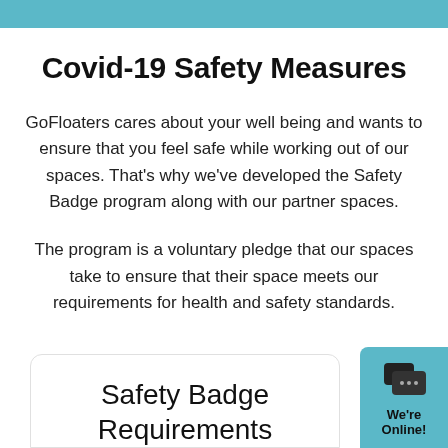Covid-19 Safety Measures
GoFloaters cares about your well being and wants to ensure that you feel safe while working out of our spaces. That's why we've developed the Safety Badge program along with our partner spaces.
The program is a voluntary pledge that our spaces take to ensure that their space meets our requirements for health and safety standards.
Safety Badge Requirements